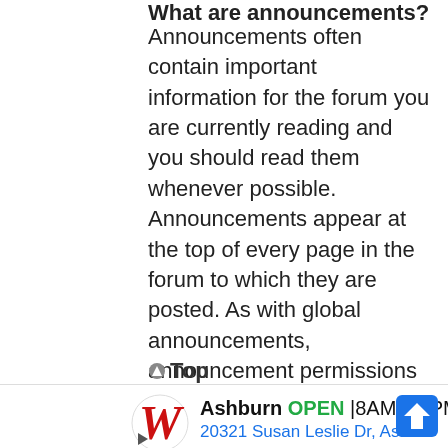What are announcements?
Announcements often contain important information for the forum you are currently reading and you should read them whenever possible. Announcements appear at the top of every page in the forum to which they are posted. As with global announcements, announcement permissions are granted by the board administrator.
Top
[Figure (other): Walgreens advertisement banner showing Ashburn store OPEN 8AM-10PM at 20321 Susan Leslie Dr, Ash...]